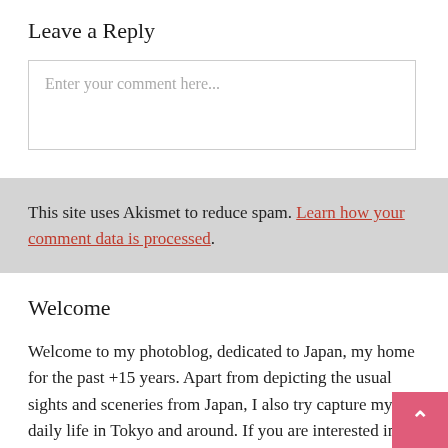Leave a Reply
Enter your comment here...
This site uses Akismet to reduce spam. Learn how your comment data is processed.
Welcome
Welcome to my photoblog, dedicated to Japan, my home for the past +15 years. Apart from depicting the usual sights and sceneries from Japan, I also try capture my daily life in Tokyo and around. If you are interested in my pictures,